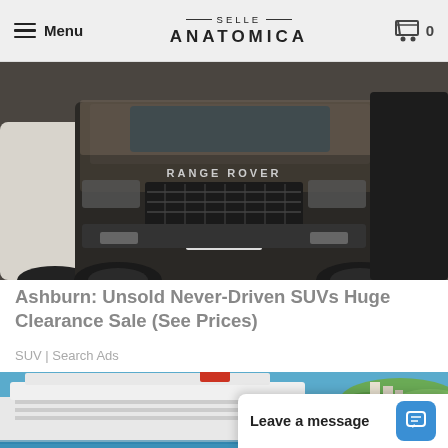Menu | SELLE ANATOMICA | 0
[Figure (photo): Front view of a dirty black Range Rover SUV parked in a lot, with another dark vehicle visible on the right]
Ashburn: Unsold Never-Driven SUVs Huge Clearance Sale (See Prices)
SUV | Search Ads
[Figure (photo): Aerial view of a large cruise ship docked near a coastal town with blue water and green hills in background]
Leave a message